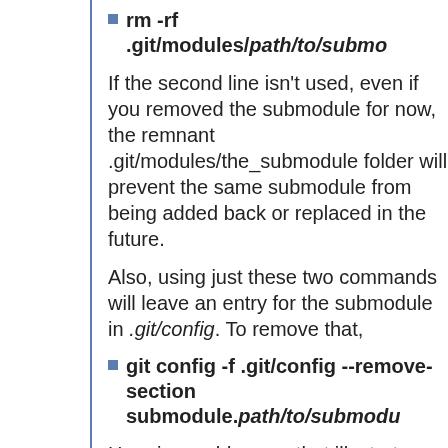rm -rf .git/modules/path/to/submod...
If the second line isn't used, even if you removed the submodule for now, the remnant .git/modules/the_submodule folder will prevent the same submodule from being added back or replaced in the future.
Also, using just these two commands will leave an entry for the submodule in .git/config. To remove that,
git config -f .git/config --remove-section submodule.path/to/submod...
Here is an older way that illustrates how all the information is held...